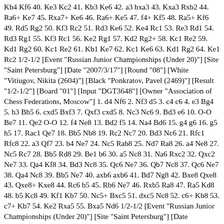Kb4 Kf6 40. Ke3 Kc2 41. Kb3 Ke6 42. a3 bxa3 43. Kxa3 Rxb2 44. Ra6+ Ke7 45. Rxa7+ Ke6 46. Ra6+ Ke5 47. f4+ Kf5 48. Ra5+ Kf6 49. Rd5 Rg2 50. Kf3 Rc2 51. Rd3 Ke6 52. Ke4 Rc1 53. Re3 Rd1 54. Rd3 Rg1 55. Kf3 Rc1 56. Ke2 Rg1 57. Kd2 Rg2+ 58. Kc1 Re2 59. Kd1 Rg2 60. Kc1 Re2 61. Kb1 Ke7 62. Kc1 Ke6 63. Kd1 Rg2 64. Ke1 Rc2 1/2-1/2 [Event "Russian Junior Championships (Under 20)"] [Site "Saint Petersburg"] [Date "2007/3/17"] [Round "08"] [White "Vitiugov, Nikita (2604)"] [Black "Ponkratov, Pavel (2469)"] [Result "1/2-1/2"] [Board "01"] [Input "DGT3648"] [Owner "Association of Chess Federations, Moscow"] 1. d4 Nf6 2. Nf3 d5 3. c4 c6 4. e3 Bg4 5. h3 Bh5 6. cxd5 Bxf3 7. Qxf3 cxd5 8. Nc3 Nc6 9. Bd3 e6 10. O-O Be7 11. Qe2 O-O 12. f4 Ne8 13. Bd2 f5 14. Na4 Bd6 15. g4 g6 16. g5 h5 17. Rac1 Qe7 18. Bb5 Nb8 19. Rc2 Nc7 20. Bd3 Nc6 21. Rfc1 Rfc8 22. a3 Qf7 23. b4 Ne7 24. Nc5 Rab8 25. Nd7 Ra8 26. a4 Ne8 27. Nc5 Rc7 28. Bb5 Rd8 29. Be1 b6 30. a5 Nc8 31. Na6 Rxc2 32. Qxc2 Ne7 33. Qa4 Kf8 34. Bd3 Nc8 35. Qc6 Ne7 36. Qb7 Nc8 37. Qc6 Ne7 38. Qa4 Nc8 39. Bb5 Ne7 40. axb6 axb6 41. Bd7 Ng8 42. Bxe8 Qxe8 43. Qxe8+ Kxe8 44. Rc6 b5 45. Rb6 Ne7 46. Rxb5 Ra8 47. Ra5 Kd8 48. b5 Kc8 49. Kf1 Kb7 50. Nc5+ Bxc5 51. dxc5 Nc8 52. c6+ Kb8 53. c7+ Kb7 54. Ke2 Rxa5 55. Bxa5 Nd6 1/2-1/2 [Event "Russian Junior Championships (Under 20)"] [Site "Saint Petersburg"] [Date "2007/3/17"] [Round "08"] [White "Lomako, Anna (2300)"] [Black "Airapetian, Tatevik (2245)"] [Result "0-1"] [Board "07"] [Input "DGT1886"] [Owner "Association of Chess Federations, Moscow"] 1. e4 f5 2. Nc3 d6 3. f4 Nc6 4. Bb5 Bd7 5. Nf3 c6 6. O-